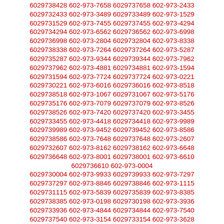6029738428 602-973-7658 6029737658 602-973-2433 6029732433 602-973-3489 6029733489 602-973-1529 6029731529 602-973-7455 6029737455 602-973-4294 6029734294 602-973-6562 6029736562 602-973-6998 6029736998 602-973-2804 6029732804 602-973-8338 6029738338 602-973-7264 6029737264 602-973-5287 6029735287 602-973-9344 6029739344 602-973-7962 6029737962 602-973-4881 6029734881 602-973-1594 6029731594 602-973-7724 6029737724 602-973-0221 6029730221 602-973-6016 6029736016 602-973-8518 6029738518 602-973-1067 6029731067 602-973-5176 6029735176 602-973-7079 6029737079 602-973-8526 6029738526 602-973-7420 6029737420 602-973-3455 6029733455 602-973-4418 6029734418 602-973-9989 6029739989 602-973-9452 6029739452 602-973-8586 6029738586 602-973-7648 6029737648 602-973-2607 6029732607 602-973-8162 6029738162 602-973-6648 6029736648 602-973-8001 6029738001 602-973-6610 6029736610 602-973-0004 6029730004 602-973-9933 6029739933 602-973-7297 6029737297 602-973-8846 6029738846 602-973-1115 6029731115 602-973-5839 6029735839 602-973-8385 6029738385 602-973-0198 6029730198 602-973-3936 6029733936 602-973-4844 6029734844 602-973-7540 6029737540 602-973-3154 6029733154 602-973-3628 6029733628 602-973-3884 6029733884 602-973-8336